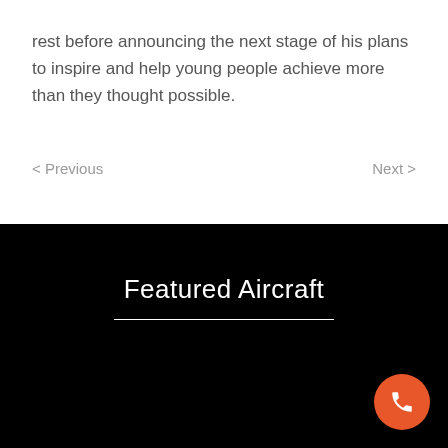rest before announcing the next stage of his plans to inspire and help young people achieve more than they thought possible.
< Previous    Next >
Featured Aircraft